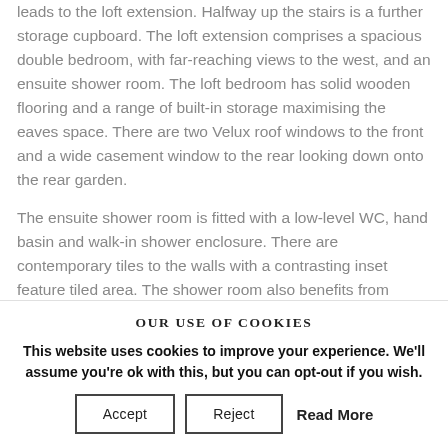leads to the loft extension. Halfway up the stairs is a further storage cupboard. The loft extension comprises a spacious double bedroom, with far-reaching views to the west, and an ensuite shower room. The loft bedroom has solid wooden flooring and a range of built-in storage maximising the eaves space. There are two Velux roof windows to the front and a wide casement window to the rear looking down onto the rear garden.
The ensuite shower room is fitted with a low-level WC, hand basin and walk-in shower enclosure. There are contemporary tiles to the walls with a contrasting inset feature tiled area. The shower room also benefits from some built-in storage and a
OUR USE OF COOKIES
This website uses cookies to improve your experience. We'll assume you're ok with this, but you can opt-out if you wish.